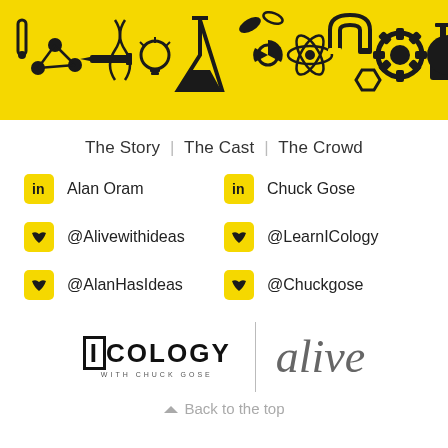[Figure (illustration): Yellow banner with black science/engineering icon pattern including flasks, atoms, gears, syringes, molecules, hard hats, etc.]
The Story  |  The Cast  |  The Crowd
in  Alan Oram
in  Chuck Gose
@Alivewithideas
@LearnICology
@AlanHasIdeas
@Chuckgose
[Figure (logo): ICology with Chuck Gose logo and Alive logo side by side separated by a vertical line]
Back to the top